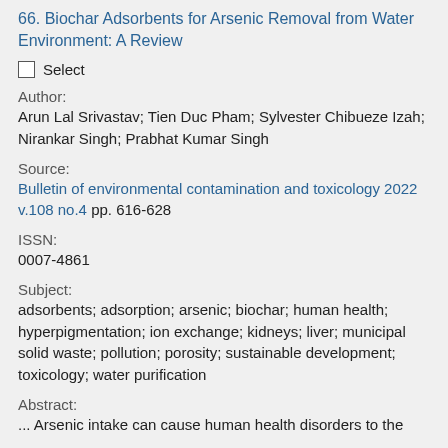66. Biochar Adsorbents for Arsenic Removal from Water Environment: A Review
Select
Author:
Arun Lal Srivastav; Tien Duc Pham; Sylvester Chibueze Izah; Nirankar Singh; Prabhat Kumar Singh
Source:
Bulletin of environmental contamination and toxicology 2022 v.108 no.4 pp. 616-628
ISSN:
0007-4861
Subject:
adsorbents; adsorption; arsenic; biochar; human health; hyperpigmentation; ion exchange; kidneys; liver; municipal solid waste; pollution; porosity; sustainable development; toxicology; water purification
Abstract:
... Arsenic intake can cause human health disorders to the